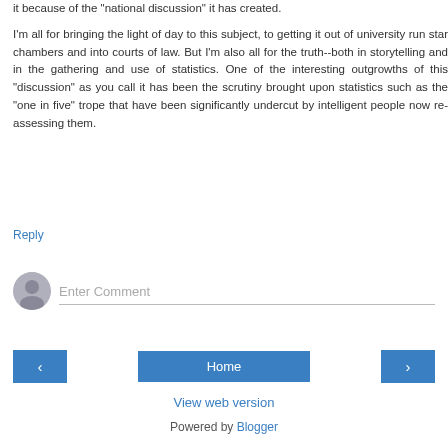it because of the "national discussion" it has created.
I'm all for bringing the light of day to this subject, to getting it out of university run star chambers and into courts of law. But I'm also all for the truth--both in storytelling and in the gathering and use of statistics. One of the interesting outgrowths of this "discussion" as you call it has been the scrutiny brought upon statistics such as the "one in five" trope that have been significantly undercut by intelligent people now re-assessing them.
Reply
[Figure (other): Comment input field with user avatar icon]
[Figure (other): Navigation buttons: back arrow, Home, forward arrow]
View web version
Powered by Blogger